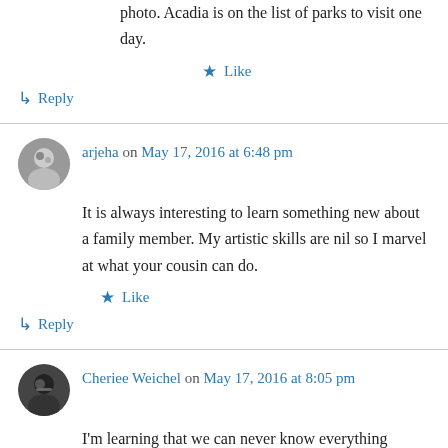photo. Acadia is on the list of parks to visit one day.
★ Like
↳ Reply
arjeha on May 17, 2016 at 6:48 pm
It is always interesting to learn something new about a family member. My artistic skills are nil so I marvel at what your cousin can do.
★ Like
↳ Reply
Cheriee Weichel on May 17, 2016 at 8:05 pm
I'm learning that we can never know everything